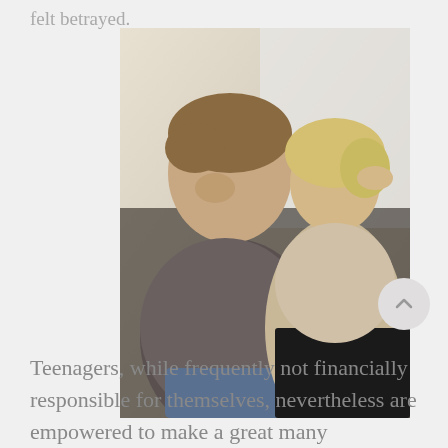felt betrayed.
[Figure (photo): A teenage boy looking downward with a serious expression, and a woman (likely his mother) behind him looking concerned with her hand raised to her head.]
Teenagers, while frequently not financially responsible for themselves, nevertheless are empowered to make a great many